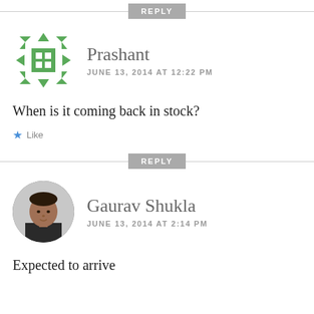REPLY
[Figure (illustration): Green geometric/mosaic avatar icon for user Prashant]
Prashant
JUNE 13, 2014 AT 12:22 PM
When is it coming back in stock?
Like
REPLY
[Figure (photo): Circular profile photo of Gaurav Shukla, a man in a dark shirt]
Gaurav Shukla
JUNE 13, 2014 AT 2:14 PM
Expected to arrive